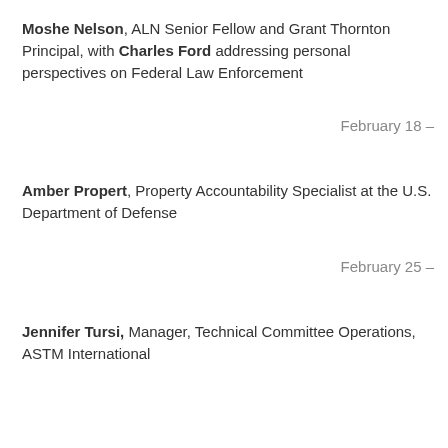Moshe Nelson, ALN Senior Fellow and Grant Thornton Principal, with Charles Ford addressing personal perspectives on Federal Law Enforcement
February 18 –
Amber Propert, Property Accountability Specialist at the U.S. Department of Defense
February 25 –
Jennifer Tursi, Manager, Technical Committee Operations, ASTM International